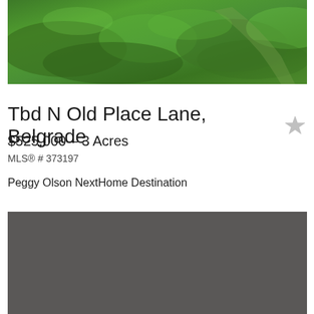[Figure (photo): Aerial/ground-level photo of a green grassy field with a dirt path visible, lush green vegetation]
Tbd N Old Place Lane, Belgrade
$525,000 - 3 Acres
MLS® # 373197
Peggy Olson NextHome Destination
[Figure (photo): Gray/dark placeholder image, possibly a map or secondary property photo that did not load]